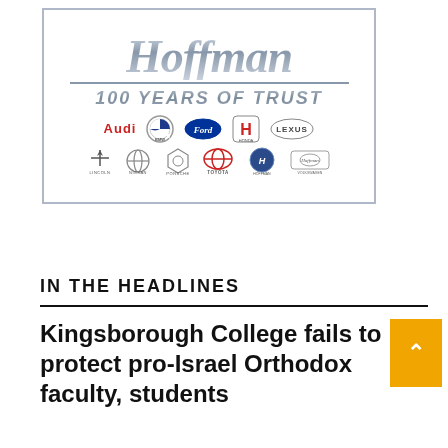[Figure (logo): Hoffman Auto Group advertisement. Large stylized italic 'Hoffman' text in metallic gray, with tagline '100 YEARS OF TRUST' below a horizontal rule. Car brand logos shown in two rows: Audi (red text), BMW (roundel), Ford (blue oval), Honda (H logo), Lexus (oval), Lincoln (star), Nissan (circle), Porsche (crest), Toyota (oval), Hoffman Pre-Owned (H logo), Hoffman Volkswagen (car silhouette). All inside a gray-bordered rectangle.]
IN THE HEADLINES
Kingsborough College fails to protect pro-Israel Orthodox faculty, students